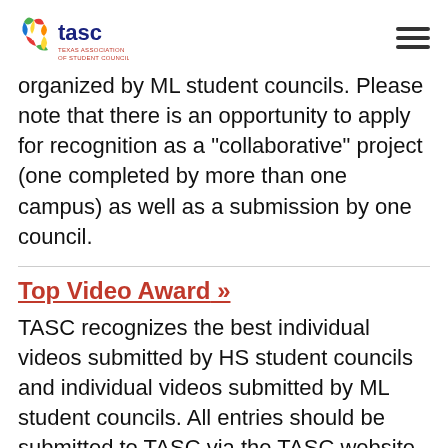TASC - Texas Association of Student Councils
organized by ML student councils. Please note that there is an opportunity to apply for recognition as a "collaborative" project (one completed by more than one campus) as well as a submission by one council.
Top Video Award »
TASC recognizes the best individual videos submitted by HS student councils and individual videos submitted by ML student councils. All entries should be submitted to TASC via the TASC website by the procedure below. Select the link...